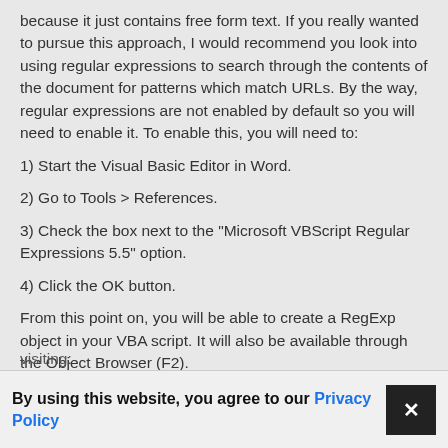because it just contains free form text. If you really wanted to pursue this approach, I would recommend you look into using regular expressions to search through the contents of the document for patterns which match URLs. By the way, regular expressions are not enabled by default so you will need to enable it. To enable this, you will need to:
1) Start the Visual Basic Editor in Word.
2) Go to Tools > References.
3) Check the box next to the "Microsoft VBScript Regular Expressions 5.5" option.
4) Click the OK button.
From this point on, you will be able to create a RegExp object in your VBA script. It will also be available through the Object Browser (F2).
visiting:
By using this website, you agree to our Privacy Policy